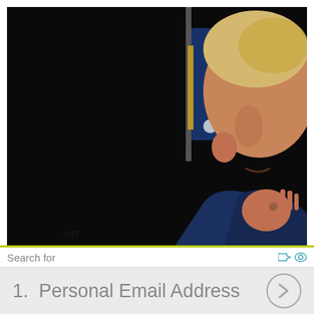[Figure (photo): Close-up photo of a person with blonde/grey hair gesturing with their hand making an OK sign, wearing a blue suit and white tie. An American flag is visible in the background against a dark backdrop.]
Search for
1.  Personal Email Address